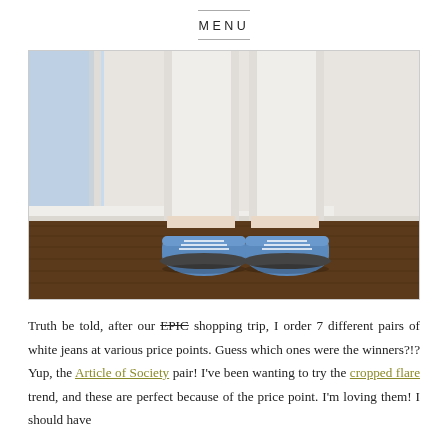MENU
[Figure (photo): Lower body of a person wearing white cropped jeans and blue sneakers, standing on dark hardwood floor next to a white wall with a window on the left.]
Truth be told, after our EPIC shopping trip, I order 7 different pairs of white jeans at various price points. Guess which ones were the winners?!? Yup, the Article of Society pair! I've been wanting to try the cropped flare trend, and these are perfect because of the price point. I'm loving them! I should have